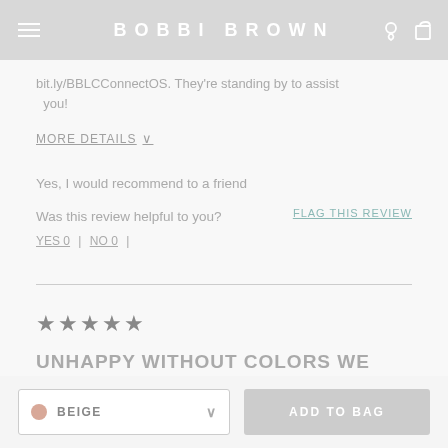BOBBI BROWN
bit.ly/BBLCConnectOS. They're standing by to assist you!
MORE DETAILS ˅
Yes, I would recommend to a friend
Was this review helpful to you?
FLAG THIS REVIEW
YES 0  |  NO 0  |
★★★★★
UNHAPPY WITHOUT COLORS WE
BEIGE
ADD TO BAG